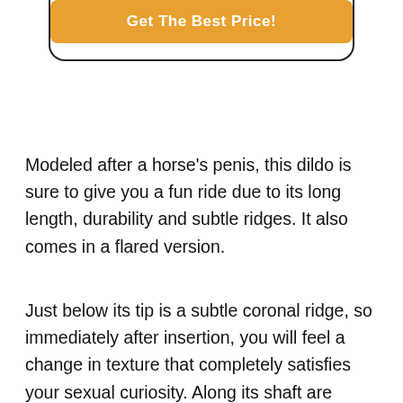[Figure (other): Partial view of a rounded-corner card UI element with a dark border and an orange 'Get The Best Price!' call-to-action button]
Modeled after a horse's penis, this dildo is sure to give you a fun ride due to its long length, durability and subtle ridges. It also comes in a flared version.
Just below its tip is a subtle coronal ridge, so immediately after insertion, you will feel a change in texture that completely satisfies your sexual curiosity. Along its shaft are veiny, lifelike textures and a subtle medial ring that can be felt and enjoyed as you further penetrate deeper into your vagina.